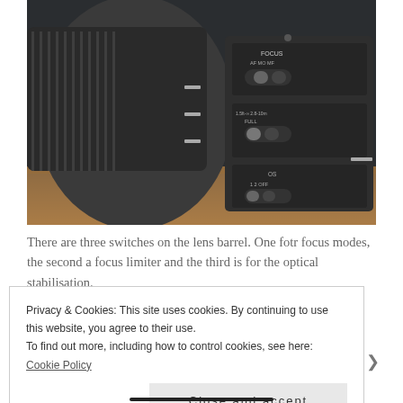[Figure (photo): Close-up photograph of a camera lens barrel showing three switches labeled FOCUS (AF, MO, MF), a focus limiter (1.5ft-∞, 2.8-10m, FULL), and an OS (optical stabilisation) switch, on a wooden surface background.]
There are three switches on the lens barrel. One fotr focus modes, the second a focus limiter and the third is for the optical stabilisation.
Privacy & Cookies: This site uses cookies. By continuing to use this website, you agree to their use.
To find out more, including how to control cookies, see here: Cookie Policy
Close and accept